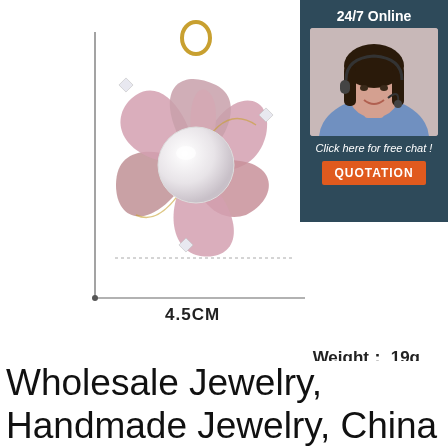[Figure (photo): Pink enamel flower brooch/pendant with pearl center and crystal accents, gold-toned setting with ring bail at top. Shown with dimension measurement lines indicating 4.5CM width.]
4.5CM
[Figure (photo): Customer service agent woman with headset smiling, shown in dark teal panel with '24/7 Online' text, 'Click here for free chat!' text, and orange QUOTATION button.]
24/7 Online
Click here for free chat !
QUOTATION
Weight： 19g
[Figure (logo): TOP logo in orange with dots above forming a triangle/arrow shape]
Wholesale Jewelry, Handmade Jewelry, China